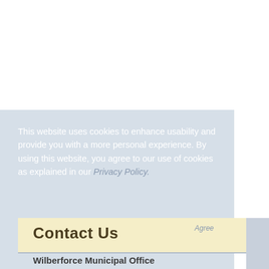This website uses cookies to enhance usability and provide you with a more personal experience. By using this website, you agree to our use of cookies as explained in our Privacy Policy.
Contact Us
Wilberforce Municipal Office